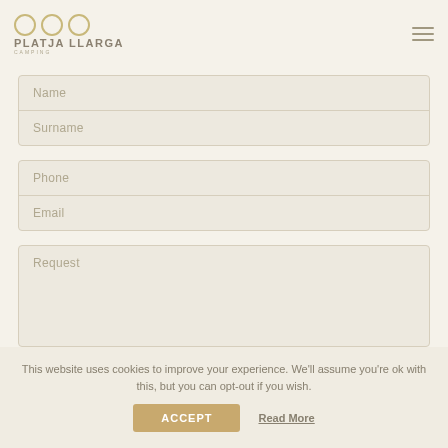[Figure (logo): Platja Llarga Camping logo with three circle icons and text]
Name
Surname
Phone
Email
Request
This website uses cookies to improve your experience. We'll assume you're ok with this, but you can opt-out if you wish.
ACCEPT
Read More